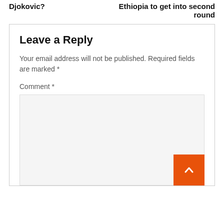Djokovic?
Ethiopia to get into second round
Leave a Reply
Your email address will not be published. Required fields are marked *
Comment *
[Figure (screenshot): Empty comment textarea input field with light gray background]
[Figure (other): Orange back-to-top button with white upward chevron arrow]